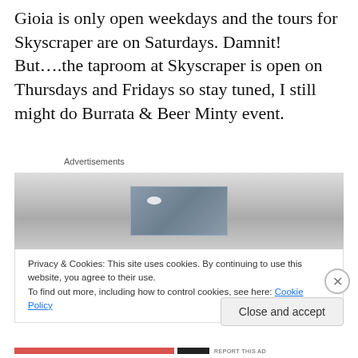Gioia is only open weekdays and the tours for Skyscraper are on Saturdays. Damnit! But….the taproom at Skyscraper is open on Thursdays and Fridays so stay tuned, I still might do Burrata & Beer Minty event.
Advertisements
[Figure (photo): Advertisement image showing what appears to be a metallic or glass display fixture in a room with light-colored walls.]
Privacy & Cookies: This site uses cookies. By continuing to use this website, you agree to their use.
To find out more, including how to control cookies, see here: Cookie Policy
Close and accept